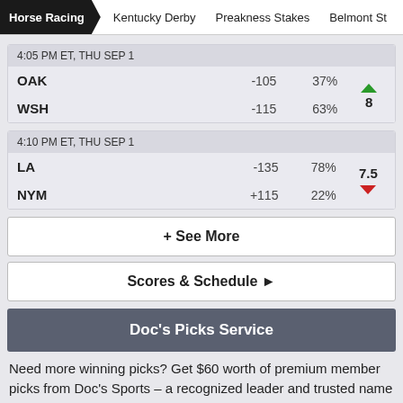Horse Racing  Kentucky Derby  Preakness Stakes  Belmont St
| Team | Odds | Pct | Spread |
| --- | --- | --- | --- |
| 4:05 PM ET, THU SEP 1 |  |  |  |
| OAK | -105 | 37% | 8 ▲ |
| WSH | -115 | 63% |  |
| Team | Odds | Pct | Spread |
| --- | --- | --- | --- |
| 4:10 PM ET, THU SEP 1 |  |  |  |
| LA | -135 | 78% | 7.5 |
| NYM | +115 | 22% | ▼ |
+ See More
Scores & Schedule ▶
Doc's Picks Service
Need more winning picks? Get $60 worth of premium member picks from Doc's Sports – a recognized leader and trusted name in sports handicapping since